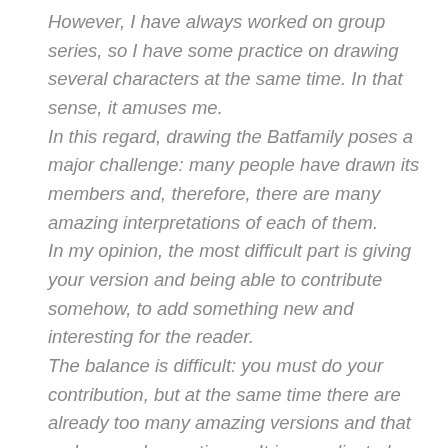However, I have always worked on group series, so I have some practice on drawing several characters at the same time. In that sense, it amuses me. In this regard, drawing the Batfamily poses a major challenge: many people have drawn its members and, therefore, there are many amazing interpretations of each of them. In my opinion, the most difficult part is giving your version and being able to contribute somehow, to add something new and interesting for the reader. The balance is difficult: you must do your contribution, but at the same time there are already too many amazing versions and that makes you be cautious... It is complicated.